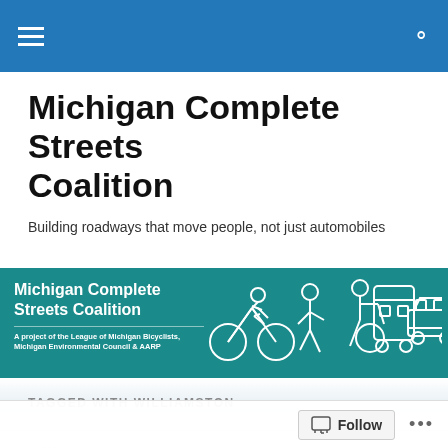Navigation bar with menu and search icons
Michigan Complete Streets Coalition
Building roadways that move people, not just automobiles
[Figure (logo): Michigan Complete Streets Coalition banner logo with icons of cyclist, pedestrian, wheelchair user, bus, and car. Text reads: Michigan Complete Streets Coalition. A project of the League of Michigan Bicyclists, Michigan Environmental Council & AARP]
TAGGED WITH WILLIAMSTON
Williamston Adopts Co...